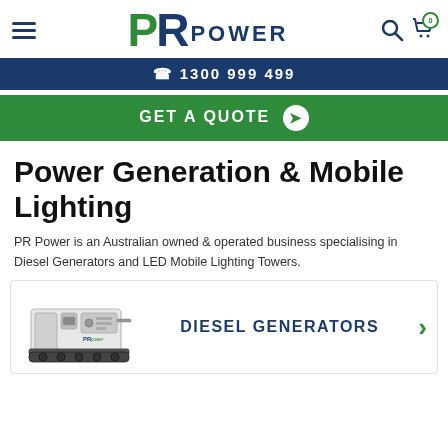PR Power - navigation header with hamburger menu, PR Power logo, search and cart icons
1300 999 499
GET A QUOTE
Power Generation & Mobile Lighting
PR Power is an Australian owned & operated business specialising in Diesel Generators and LED Mobile Lighting Towers.
DIESEL GENERATORS